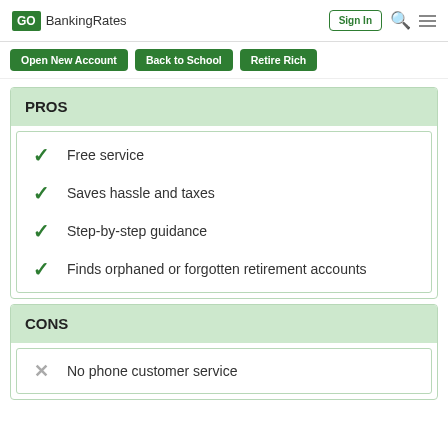GOBankingRates | Sign In
Open New Account
Back to School
Retire Rich
PROS
Free service
Saves hassle and taxes
Step-by-step guidance
Finds orphaned or forgotten retirement accounts
CONS
No phone customer service